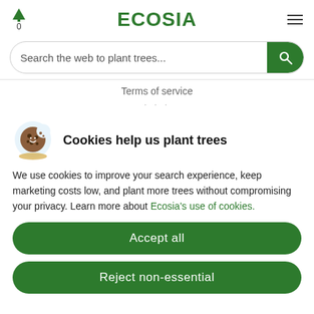ECOSIA — 0 trees — hamburger menu
[Figure (screenshot): Ecosia search bar with placeholder text 'Search the web to plant trees...' and green search button]
Terms of service
Cookies help us plant trees
We use cookies to improve your search experience, keep marketing costs low, and plant more trees without compromising your privacy. Learn more about Ecosia's use of cookies.
Accept all
Reject non-essential